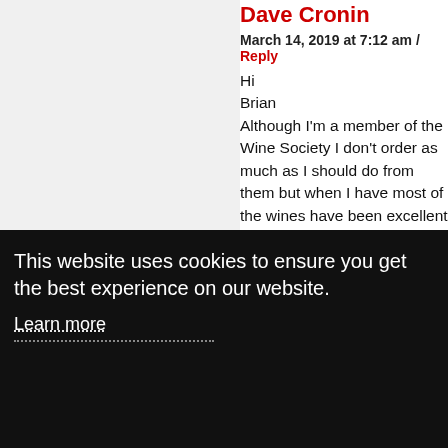Dave Cronin
March 14, 2019 at 7:12 am / Reply
Hi
Brian
Although I'm a member of the Wine Society I don't order as much as I should do from them but when I have most of the wines have been excellent and as you have highlighted their own 'Exhibition Range' is pretty decent and I can vouch for the Chardonnay.
The 3c Carinena was actually part of my first ever order and great value at £6.
As regards to the Top Tip on Furmint I
This website uses cookies to ensure you get the best experience on our website.
Learn more
Got it!